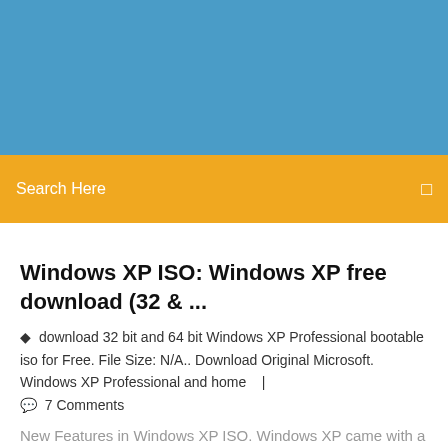[Figure (other): Blue header banner background]
Search Here
Windows XP ISO: Windows XP free download (32 & ...
download 32 bit and 64 bit Windows XP Professional bootable iso for Free. File Size: N/A.. Download Original Microsoft. Windows XP Professional and home   |
7 Comments
New Features in Windows XP ISO. Windows XP came with a